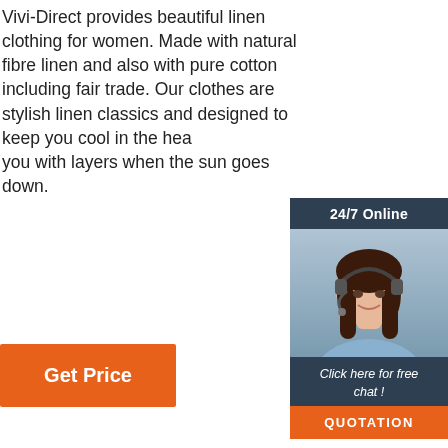Vivi-Direct provides beautiful linen clothing for women. Made with natural fibre linen and also with pure cotton including fair trade. Our clothes are stylish linen classics and designed to keep you cool in the heat and provide you with layers when the sun goes down.
[Figure (infographic): 24/7 Online chat widget with a photo of a woman wearing a headset and buttons for free chat and quotation]
Get Price
[Figure (photo): Black and white banner strip showing fabric/clothing texture]
[Figure (logo): TOP icon with orange dots and orange text]